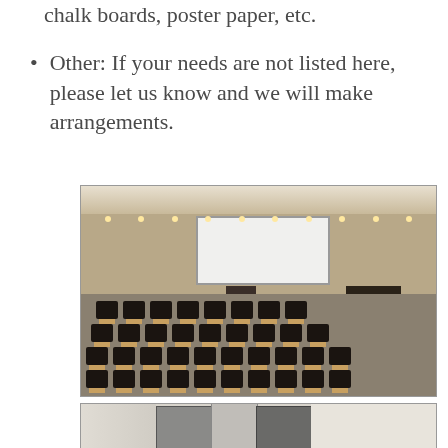chalk boards, poster paper, etc.
Other: If your needs are not listed here, please let us know and we will make arrangements.
[Figure (photo): Interior of a lecture hall or seminar room with rows of dark chairs with wooden seat supports, a projection screen at the front, a podium, ambient lighting along the back wall, and a grand piano in the right corner.]
[Figure (photo): Entrance area or lobby with glass partition walls and double glass doors, showing an exterior view through the glass.]